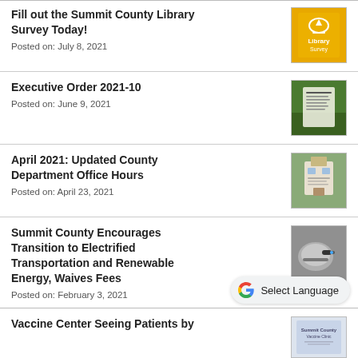Fill out the Summit County Library Survey Today!
Posted on: July 8, 2021
Executive Order 2021-10
Posted on: June 9, 2021
April 2021: Updated County Department Office Hours
Posted on: April 23, 2021
Summit County Encourages Transition to Electrified Transportation and Renewable Energy, Waives Fees
Posted on: February 3, 2021
Vaccine Center Seeing Patients by